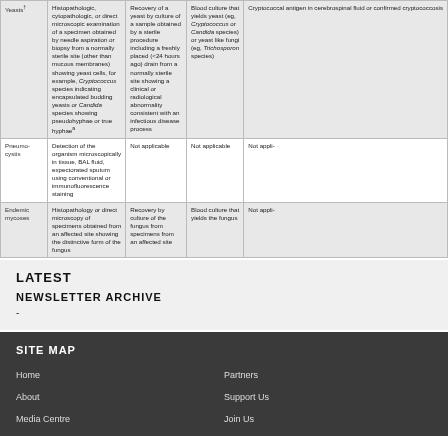|  | Histopathologic/Microscopic | Culture | Blood Culture | Other |
| --- | --- | --- | --- | --- |
| Yeasts† | Histopathologic, cytopathologic, or direct microscopic examination of a specimen obtained by needle aspiration or biopsy from a normally sterile site (other than mucous membranes) showing yeast cells, for example, Cryptococcus species indicating encapsulated budding yeasts or Candida species showing pseudohyphae or true hyphaeᵃ | Recovery of a yeast by culture of a sample obtained by a sterile procedure including a freshly placed (<24 hours ago) drain from a normally sterile site showing a clinical or radiological abnormality consistent with an infectious disease process | Blood culture that yields yeast (eg, Cryptococcus or Candida species) or yeast like fungi (eg, Trichosporon species) | Cryptococcal antigen in cerebrospinal fluid or confirmed cryptococcosis |
| Pneumocystis | Detection of the organism microscopically in tissue, BAL fluid, expectorated sputum using conventional or immunofluorescence staining | Not applicable | Not applicable | Not applicable |
| Endemic mycoses | Histopathology or direct microscopy of specimens obtained from an affected site showing the distinctive form of the fungus | Recovery by culture of the fungus from specimens from an affected site | Blood culture that yields the fungus | Not applicable |
LATEST
NEWSLETTER ARCHIVE
-
SITE MAP
Home
About
Media Centre
Partners
Support Us
Join Us